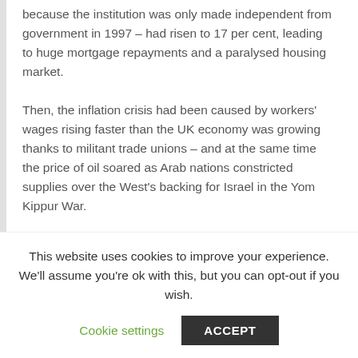because the institution was only made independent from government in 1997 – had risen to 17 per cent, leading to huge mortgage repayments and a paralysed housing market.
Then, the inflation crisis had been caused by workers' wages rising faster than the UK economy was growing thanks to militant trade unions – and at the same time the price of oil soared as Arab nations constricted supplies over the West's backing for Israel in the Yom Kippur War.
Today prices are soaring thanks to the huge
This website uses cookies to improve your experience. We'll assume you're ok with this, but you can opt-out if you wish.
Cookie settings
ACCEPT